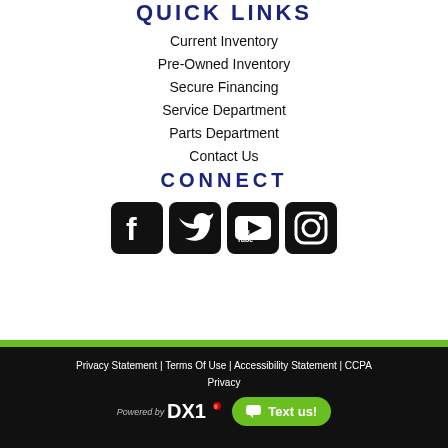QUICK LINKS
Current Inventory
Pre-Owned Inventory
Secure Financing
Service Department
Parts Department
Contact Us
CONNECT
[Figure (other): Social media icons: Facebook, Twitter, YouTube, Instagram]
Privacy Statement | Terms Of Use | Accessibility Statement | CCPA Privacy
Powered by DX1 | Text us!